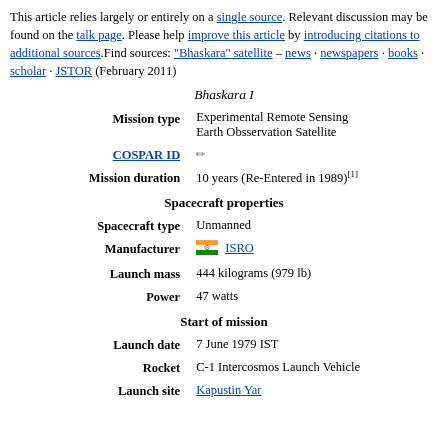This article relies largely or entirely on a single source. Relevant discussion may be found on the talk page. Please help improve this article by introducing citations to additional sources. Find sources: "Bhaskara" satellite – news · newspapers · books · scholar · JSTOR (February 2011)
Bhaskara I
| Field | Value |
| --- | --- |
| Mission type | Experimental Remote Sensing Earth Obsservation Satellite |
| COSPAR ID | ✏ |
| Mission duration | 10 years (Re-Entered in 1989)[1] |
| Spacecraft properties |  |
| Spacecraft type | Unmanned |
| Manufacturer | 🇮🇳 ISRO |
| Launch mass | 444 kilograms (979 lb) |
| Power | 47 watts |
| Start of mission |  |
| Launch date | 7 June 1979 IST |
| Rocket | C-1 Intercosmos Launch Vehicle |
| Launch site | Kapustin Yar |